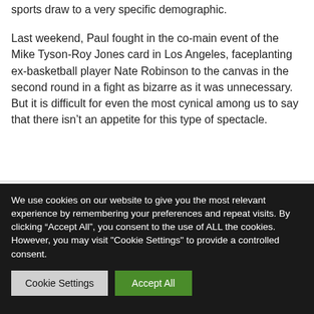sports draw to a very specific demographic.
Last weekend, Paul fought in the co-main event of the Mike Tyson-Roy Jones card in Los Angeles, faceplanting ex-basketball player Nate Robinson to the canvas in the second round in a fight as bizarre as it was unnecessary. But it is difficult for even the most cynical among us to say that there isn't an appetite for this type of spectacle.
We use cookies on our website to give you the most relevant experience by remembering your preferences and repeat visits. By clicking “Accept All”, you consent to the use of ALL the cookies. However, you may visit "Cookie Settings" to provide a controlled consent.